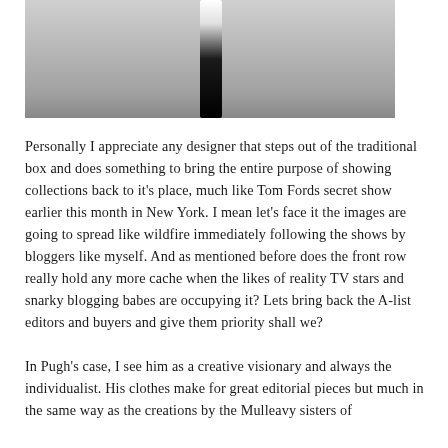[Figure (photo): Partial photograph showing a black cylindrical object against a grey background, cropped at top of page]
Personally I appreciate any designer that steps out of the traditional box and does something to bring the entire purpose of showing collections back to it's place, much like Tom Fords secret show earlier this month in New York. I mean let's face it the images are going to spread like wildfire immediately following the shows by bloggers like myself. And as mentioned before does the front row really hold any more cache when the likes of reality TV stars and snarky blogging babes are occupying it? Lets bring back the A-list editors and buyers and give them priority shall we?
In Pugh's case, I see him as a creative visionary and always the individualist. His clothes make for great editorial pieces but much in the same way as the creations by the Mulleavy sisters of